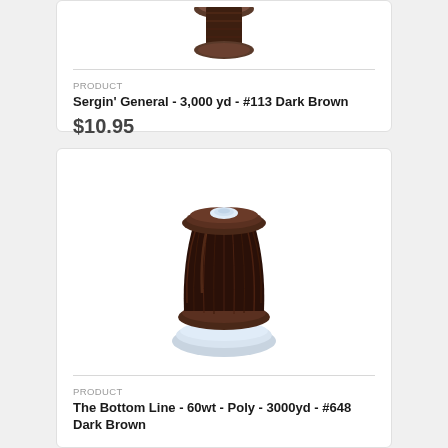[Figure (photo): Top portion of a dark brown thread spool on white background, partially visible (cropped at top)]
PRODUCT
Sergin' General - 3,000 yd - #113 Dark Brown
$10.95
[Figure (photo): Full dark brown thread spool on a light blue-grey base, product photo on white background]
PRODUCT
The Bottom Line - 60wt - Poly - 3000yd - #648 Dark Brown